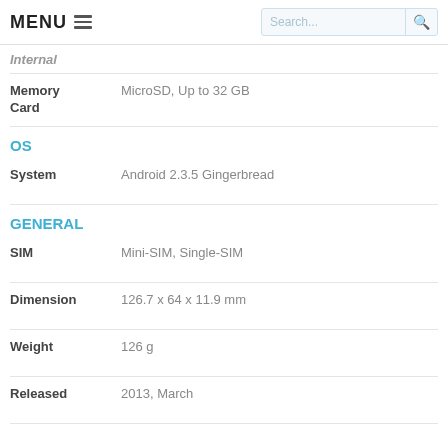MENU
Internal
| Property | Value |
| --- | --- |
| Memory Card | MicroSD, Up to 32 GB |
OS
| Property | Value |
| --- | --- |
| System | Android 2.3.5 Gingerbread |
GENERAL
| Property | Value |
| --- | --- |
| SIM | Mini-SIM, Single-SIM |
| Dimension | 126.7 x 64 x 11.9 mm |
| Weight | 126 g |
| Released | 2013, March |